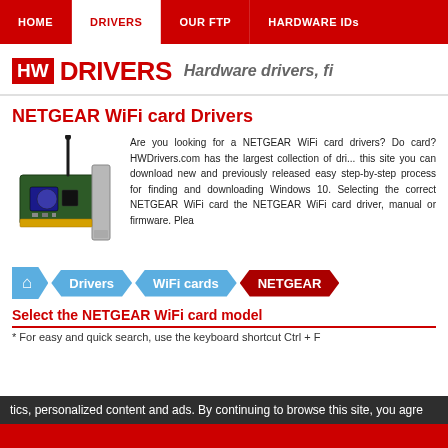HOME | DRIVERS | OUR FTP | HARDWARE IDs
[Figure (logo): HW DRIVERS logo with red HW box and red DRIVERS text, followed by tagline 'Hardware drivers, fi...']
NETGEAR WiFi card Drivers
[Figure (photo): NETGEAR WiFi PCI card with antenna]
Are you looking for a NETGEAR WiFi card drivers? Do card? HWDrivers.com has the largest collection of dri... this site you can download new and previously released easy step-by-step process for finding and downloading Windows 10. Selecting the correct NETGEAR WiFi card the NETGEAR WiFi card driver, manual or firmware. Plea
[Figure (infographic): Breadcrumb navigation: Home (house icon) > Drivers > WiFi cards > NETGEAR]
Select the NETGEAR WiFi card model
* For easy and quick search, use the keyboard shortcut Ctrl + F
tics, personalized content and ads. By continuing to browse this site, you agre